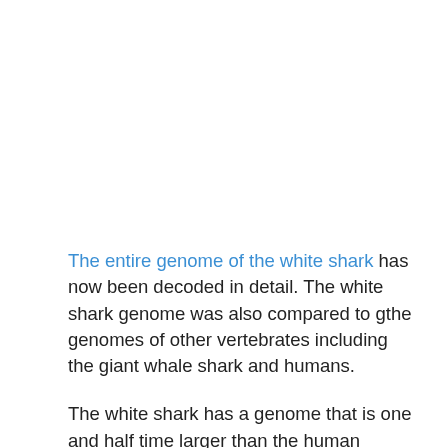The entire genome of the white shark has now been decoded in detail. The white shark genome was also compared to gthe genomes of other vertebrates including the giant whale shark and humans.
The white shark has a genome that is one and half time larger than the human